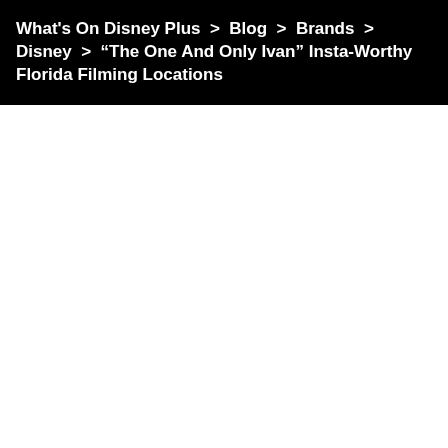What's On Disney Plus  >  Blog  >  Brands  >  Disney  >  “The One And Only Ivan” Insta-Worthy Florida Filming Locations